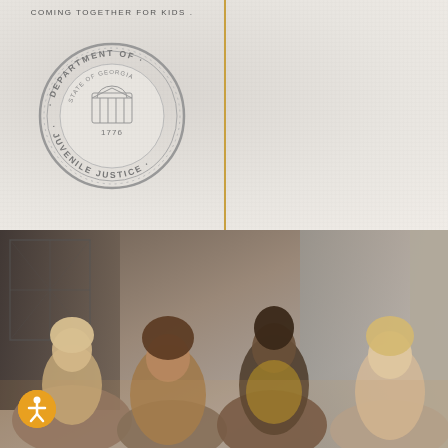COMING TOGETHER FOR KIDS
[Figure (logo): Department of Juvenile Justice Georgia state seal (circular, gray, 1776)]
[Figure (logo): State of Georgia seal (circular, 1776, Constitution)]
EPAC
Educational Programming, Assessment & Consultation
[Figure (photo): Four teenagers/young adults smiling and looking at something together outdoors]
[Figure (logo): Accessibility icon – orange circle with white person figure]